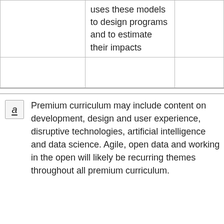|  | uses these models to design programs and to estimate their impacts |  |
|  |  |  |
a  Premium curriculum may include content on development, design and user experience, disruptive technologies, artificial intelligence and data science. Agile, open data and working in the open will likely be recurring themes throughout all premium curriculum.